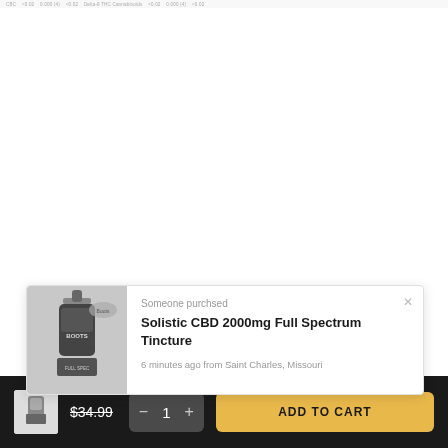CBC  <0.02  0.000 (4)  <0.02  Delta-8 THC Cannabinoids  <0.02  0.000 (4)  <0.02
Someone purchsed
Solistic CBD 2000mg Full Spectrum Tincture
6 minutes ago from Saint Charles, Missouri
REVIEWS
$34.99
1
ADD TO CART